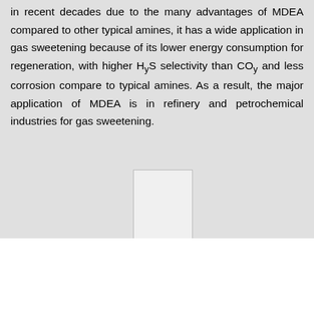in recent decades due to the many advantages of MDEA compared to other typical amines, it has a wide application in gas sweetening because of its lower energy consumption for regeneration, with higher H₂S selectivity than CO₂ and less corrosion compare to typical amines. As a result, the major application of MDEA is in refinery and petrochemical industries for gas sweetening.
[Figure (illustration): A small rectangular placeholder image, light gray with a border, centered horizontally in the gray background section of the page.]
Production units